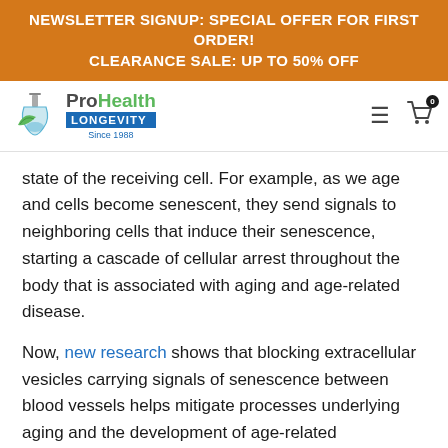NEWSLETTER SIGNUP: SPECIAL OFFER FOR FIRST ORDER!
CLEARANCE SALE: UP TO 50% OFF
[Figure (logo): ProHealth Longevity logo with leaf and flask icon, Since 1988]
state of the receiving cell. For example, as we age and cells become senescent, they send signals to neighboring cells that induce their senescence, starting a cascade of cellular arrest throughout the body that is associated with aging and age-related disease.
Now, new research shows that blocking extracellular vesicles carrying signals of senescence between blood vessels helps mitigate processes underlying aging and the development of age-related cardiovascular diseases (e.g., heart failure, atherosclerotic disorder, and hypertension [high blood pressure] ).